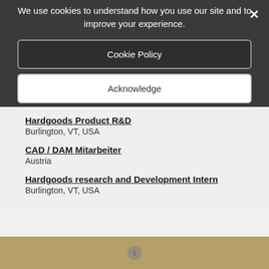We use cookies to understand how you use our site and to improve your experience.
Cookie Policy
Acknowledge
×
Hardgoods Product R&D
Burlington, VT, USA
CAD / DAM Mitarbeiter
Austria
Hardgoods research and Development Intern
Burlington, VT, USA
Search